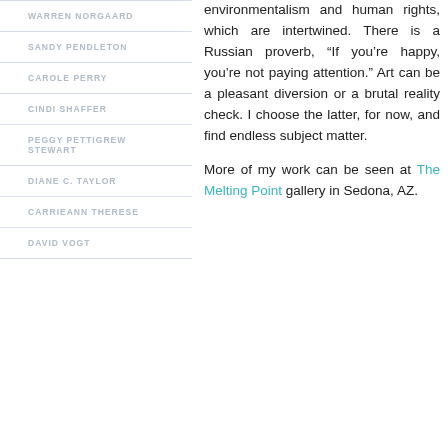WARREN NORGAARD
SANDY PENDLETON
CAROLE PERRY
CINDI SHAFFER
PEGGY PETTIGREW STEWART
DIANE C. TAYLOR
CARRIEANN THERESE
DAVID VOGT
environmentalism and human rights, which are intertwined. There is a Russian proverb, “If you’re happy, you’re not paying attention.” Art can be a pleasant diversion or a brutal reality check. I choose the latter, for now, and find endless subject matter.
More of my work can be seen at The Melting Point gallery in Sedona, AZ.